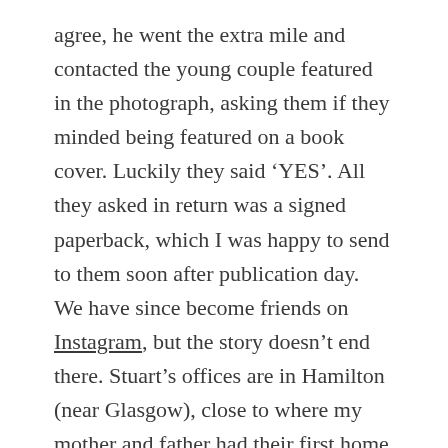agree, he went the extra mile and contacted the young couple featured in the photograph, asking them if they minded being featured on a book cover. Luckily they said 'YES'. All they asked in return was a signed paperback, which I was happy to send to them soon after publication day.  We have since become friends on Instagram, but the story doesn't end there. Stuart's offices are in Hamilton (near Glasgow), close to where my mother and father had their first home and two miles from where I was born (Craigneuk). Since this book is dedicated to my mother I feel like I've come full circle. My mother died before I published my first novel so this feels right, somehow. Everyone has said how much they love the cover; so romantic, so atmospheric. It was quoted by Gail Rundles and